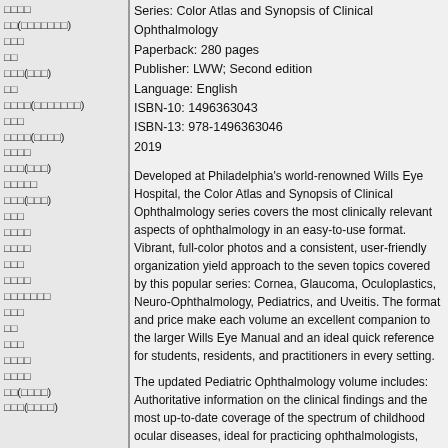□□□□
□□(□□□□□□□)
□□□
□□
□□□(□□□)
□□
□□□□(□□□□□□□)
□□□
□□□□(□□□□)
□□□□
□□□(□□□)
□□□□□
□□□(□□□)
□□□
□□□□
□□□□
□□□
□□□□
□□□□□□□
□□□
□□
□□□
□□□□
□□□□
□□(□□□□)
□□□(□□□□)
Series: Color Atlas and Synopsis of Clinical Ophthalmology
Paperback: 280 pages
Publisher: LWW; Second edition
Language: English
ISBN-10: 1496363043
ISBN-13: 978-1496363046
2019
Developed at Philadelphia's world-renowned Wills Eye Hospital, the Color Atlas and Synopsis of Clinical Ophthalmology series covers the most clinically relevant aspects of ophthalmology in an easy-to-use format. Vibrant, full-color photos and a consistent, user-friendly organization yield approach to the seven topics covered by this popular series: Cornea, Glaucoma, Oculoplastics, Neuro-Ophthalmology, Pediatrics, and Uveitis. The format and price make each volume an excellent companion to the larger Wills Eye Manual and an ideal quick reference for students, residents, and practitioners in every setting.
The updated Pediatric Ophthalmology volume includes:
Authoritative information on the clinical findings and the most up-to-date coverage of the spectrum of childhood ocular diseases, ideal for practicing ophthalmologists, pediatricians, fellows, and residents.
New chapters on pediatric uveitis and pediatric optic nerve abnormalities.
More than 170 new and updated high-quality photographs of common pediatric ocular disorders.
An easy-to-use format that covers Epidemiology and Etiology, Symptoms, Signs, Differential Diagnosis, Laboratory and Special Examinations, Diagnosis and Management.
Enrich Your eBook Reading Experience with Enhanced Video, Flashcard, and Search Features
Read directly on your preferred device(s), such as computer, tablet, or smartphone.
Easily convert to audiobook, powering your content with natural language text-to-speech.